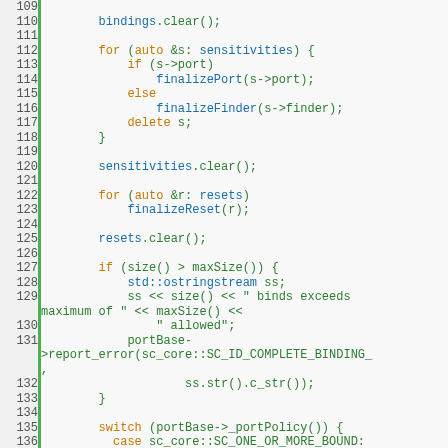[Figure (screenshot): Source code screenshot showing C++ code lines 109-138 with syntax highlighting. Line numbers on left, green vertical bar separator, code with orange keywords, blue function names, green identifiers on light gray background.]